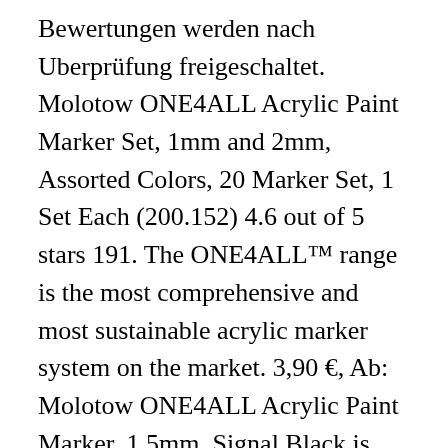Bewertungen werden nach Uberprüfung freigeschaltet. Molotow ONE4ALL Acrylic Paint Marker Set, 1mm and 2mm, Assorted Colors, 20 Marker Set, 1 Set Each (200.152) 4.6 out of 5 stars 191. The ONE4ALL™ range is the most comprehensive and most sustainable acrylic marker system on the market. 3,90 €, Ab: Molotow ONE4ALL Acrylic Paint Marker, 1.5mm, Signal Black is high-covering, premium acrylic-based pigment paint in an easy-to-handle marker that works on almost every surface, both indoors and outdoors. ONE4ALL® Acrylic Pump Markers Innovative Hybrid paint, offers a high flow pigmented acrylic color in a patented capillary pump marker. EMPTY MARKERSYSTEM. Essentials